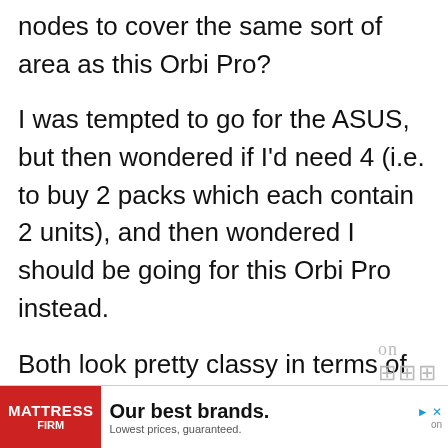nodes to cover the same sort of area as this Orbi Pro?
I was tempted to go for the ASUS, but then wondered if I'd need 4 (i.e. to buy 2 packs which each contain 2 units), and then wondered I should be going for this Orbi Pro instead.
Both look pretty classy in terms of bragging potential haha. I was trying to be a perfectionist to try and get the
[Figure (other): Advertisement banner for Mattress Firm: 'Our best brands. Lowest prices, guaranteed.' with red logo on left and navigation arrows.]